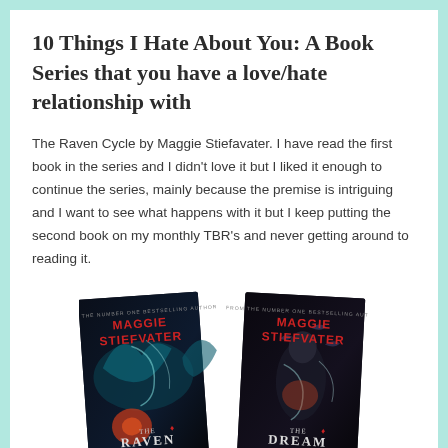10 Things I Hate About You: A Book Series that you have a love/hate relationship with
The Raven Cycle by Maggie Stiefavater. I have read the first book in the series and I didn't love it but I liked it enough to continue the series, mainly because the premise is intriguing and I want to see what happens with it but I keep putting the second book on my monthly TBR's and never getting around to reading it.
[Figure (photo): Two book covers side by side: 'The Raven Boys' and 'The Dream Thieves', both by Maggie Stiefvater, shown at an angle with dark fantasy cover art.]